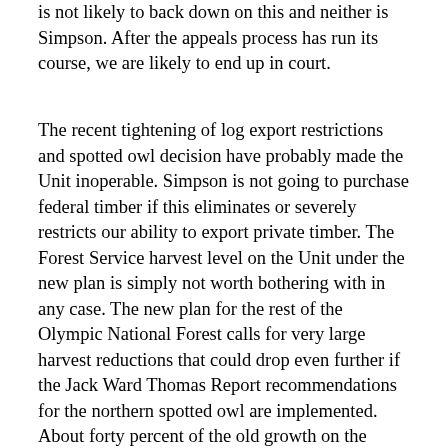is not likely to back down on this and neither is Simpson. After the appeals process has run its course, we are likely to end up in court.
The recent tightening of log export restrictions and spotted owl decision have probably made the Unit inoperable. Simpson is not going to purchase federal timber if this eliminates or severely restricts our ability to export private timber. The Forest Service harvest level on the Unit under the new plan is simply not worth bothering with in any case. The new plan for the rest of the Olympic National Forest calls for very large harvest reductions that could drop even further if the Jack Ward Thomas Report recommendations for the northern spotted owl are implemented. About forty percent of the old growth on the Olympic National Forest that could still be harvested after implementation of the Thomas Report is in the Unit. If Simpson won't buy this timber, it can't be purchased by other processors who will be really scrapping over the much reduced cut available to